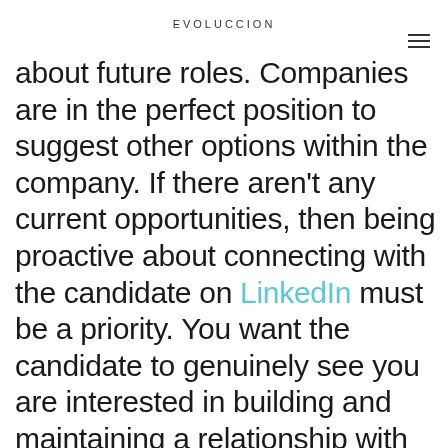EVOLUCCION
about future roles. Companies are in the perfect position to suggest other options within the company. If there aren't any current opportunities, then being proactive about connecting with the candidate on LinkedIn must be a priority. You want the candidate to genuinely see you are interested in building and maintaining a relationship with them. When a role opens for which they are a possible fit,